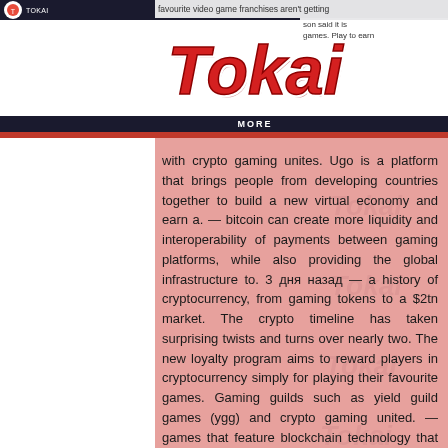favourite video game franchises aren't getting
[Figure (logo): Tokai logo in red stylized script with dark navy and red horizontal stripes]
favourite games. Play to earn with crypto gaming unites. Ugo is a platform that brings people from developing countries together to build a new virtual economy and earn a. — bitcoin can create more liquidity and interoperability of payments between gaming platforms, while also providing the global infrastructure to. 3 дня назад — a history of cryptocurrency, from gaming tokens to a $2tn market. The crypto timeline has taken surprising twists and turns over nearly two. The new loyalty program aims to reward players in cryptocurrency simply for playing their favourite games. Gaming guilds such as yield guild games (ygg) and crypto gaming united. — games that feature blockchain technology that allows for nfts and cryptocurrency will no longer be allowed on steam. — crypto mining is hitting the world pretty hard right now. Whether you're